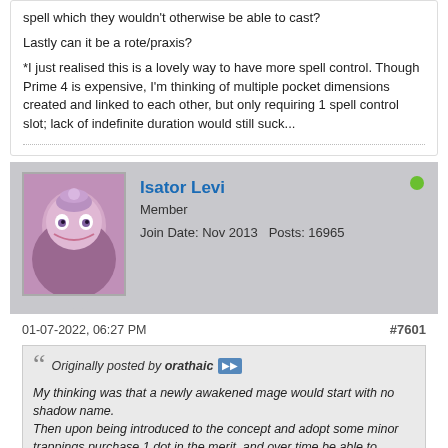spell which they wouldn't otherwise be able to cast?

Lastly can it be a rote/praxis?

*I just realised this is a lovely way to have more spell control. Though Prime 4 is expensive, I'm thinking of multiple pocket dimensions created and linked to each other, but only requiring 1 spell control slot; lack of indefinite duration would still suck...
Isator Levi | Member | Join Date: Nov 2013 | Posts: 16965
01-07-2022, 06:27 PM
#7601
Originally posted by orathaic
My thinking was that a newly awakened mage would start with no shadow name.
Then upon being introduced to the concept and adopt some minor trappings purchase 1 dot in the merit, and over time be able to develop their magical identity.